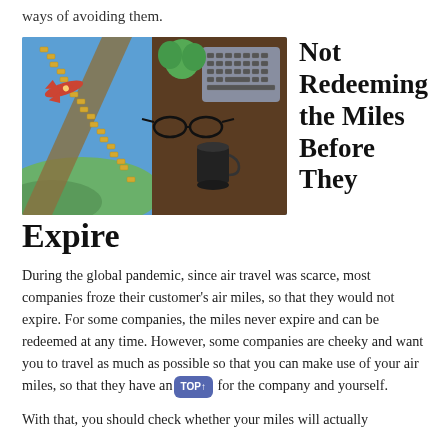ways of avoiding them.
[Figure (photo): A composite image showing an airplane flying in a blue sky merged with a zipper opening onto a wooden desk scene with glasses, a coffee cup, a plant, and a laptop keyboard.]
Not Redeeming the Miles Before They Expire
During the global pandemic, since air travel was scarce, most companies froze their customer's air miles, so that they would not expire. For some companies, the miles never expire and can be redeemed at any time. However, some companies are cheeky and want you to travel as much as possible so that you can make use of your air miles, so that they have any value, for the company and yourself.
With that, you should check whether your miles will actually